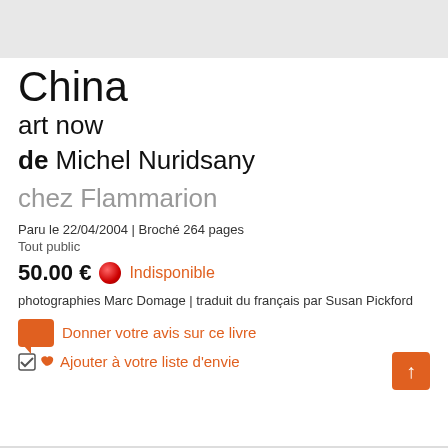[Figure (other): Gray placeholder image area at top of page]
China
art now
de Michel Nuridsany
chez Flammarion
Paru le 22/04/2004 | Broché 264 pages
Tout public
50.00 €  Indisponible
photographies Marc Domage | traduit du français par Susan Pickford
Donner votre avis sur ce livre
Ajouter à votre liste d'envie